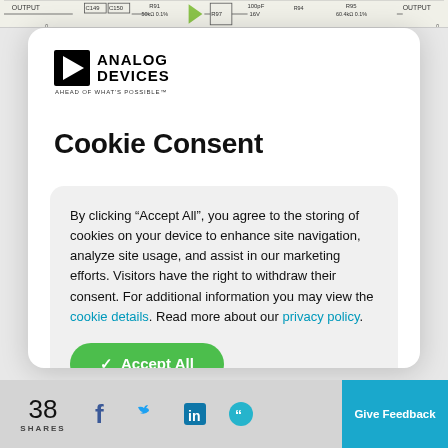[Figure (schematic): Top strip showing partial electronic schematic with component labels: OUTPUT, C149, C150, R91, 50kΩ 0.1%, R97, 100pF, 16V, R95, 50.4kΩ 0.1%, OUTPUT]
[Figure (logo): Analog Devices logo with triangle play-button icon and text ANALOG DEVICES, tagline AHEAD OF WHAT'S POSSIBLE]
Cookie Consent
By clicking “Accept All”, you agree to the storing of cookies on your device to enhance site navigation, analyze site usage, and assist in our marketing efforts. Visitors have the right to withdraw their consent. For additional information you may view the cookie details. Read more about our privacy policy.
Accept All
38 SHARES
Give Feedback